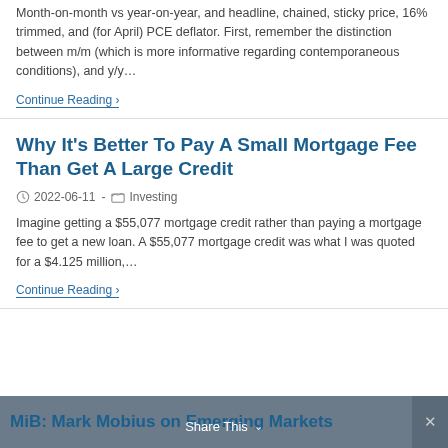Month-on-month vs year-on-year, and headline, chained, sticky price, 16% trimmed, and (for April) PCE deflator. First, remember the distinction between m/m (which is more informative regarding contemporaneous conditions), and y/y...
Continue Reading ›
Why It's Better To Pay A Small Mortgage Fee Than Get A Large Credit
2022-06-11  -  Investing
Imagine getting a $55,077 mortgage credit rather than paying a mortgage fee to get a new loan. A $55,077 mortgage credit was what I was quoted for a $4.125 million,...
Continue Reading ›
MiB: Mark Mobius on Emerging Markets